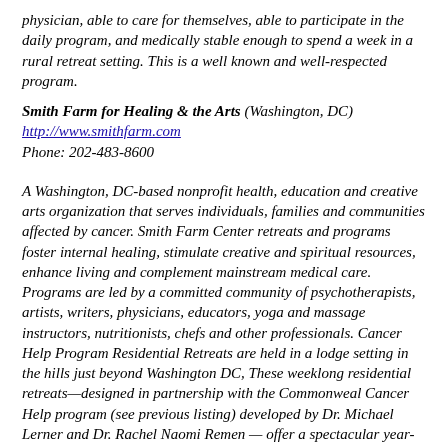physician, able to care for themselves, able to participate in the daily program, and medically stable enough to spend a week in a rural retreat setting. This is a well known and well-respected program.
Smith Farm for Healing & the Arts (Washington, DC)
http://www.smithfarm.com
Phone: 202-483-8600
A Washington, DC-based nonprofit health, education and creative arts organization that serves individuals, families and communities affected by cancer. Smith Farm Center retreats and programs foster internal healing, stimulate creative and spiritual resources, enhance living and complement mainstream medical care. Programs are led by a committed community of psychotherapists, artists, writers, physicians, educators, yoga and massage instructors, nutritionists, chefs and other professionals. Cancer Help Program Residential Retreats are held in a lodge setting in the hills just beyond Washington DC, These weeklong residential retreats—designed in partnership with the Commonweal Cancer Help program (see previous listing) developed by Dr. Michael Lerner and Dr. Rachel Naomi Remen — offer a spectacular year-round environment for integration, reflection and healing transformation. There are also day retreats, programs and workshops at their Center in